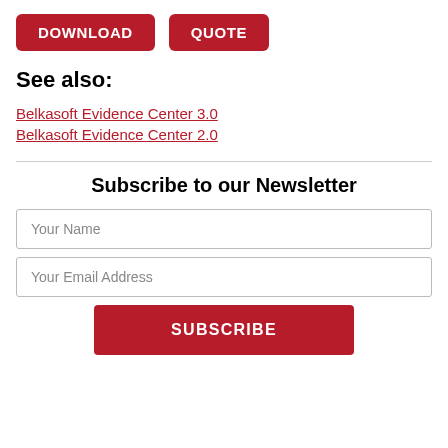[Figure (other): Two red buttons labeled DOWNLOAD and QUOTE]
See also:
Belkasoft Evidence Center 3.0
Belkasoft Evidence Center 2.0
Subscribe to our Newsletter
Your Name
Your Email Address
SUBSCRIBE